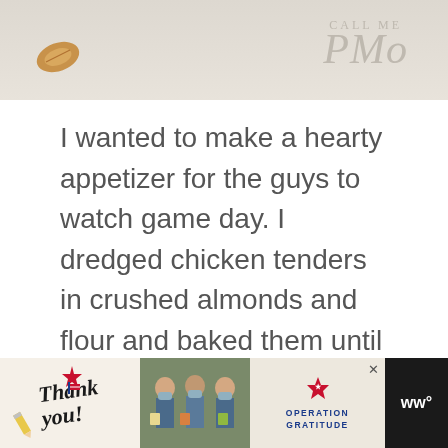[Figure (photo): Top portion of a recipe blog header image showing an almond on a light linen background with a cursive watermark text 'Call Me PMo' in grey]
I wanted to make a hearty appetizer for the guys to watch game day. I dredged chicken tenders in crushed almonds and flour and baked them until golden.
[Figure (other): Advertisement placeholder box with three grey dots centered inside, and heart/share action buttons on the right side]
[Figure (photo): Bottom advertisement banner showing 'Thank you!' with flag decoration, nurses with masks holding cards, and Operation Gratitude logo, with close button X and WW logo on the right]